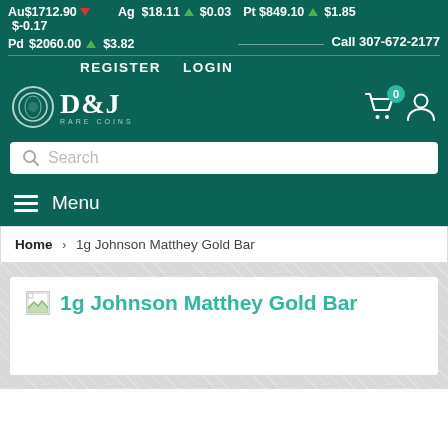Au$1712.90 ▼ $-0.17   Ag $18.11 ▲ $0.03   Pt $849.10 ▲ $1.85   Pd $2060.00 ▲ $3.82   Call 307-672-2177
REGISTER   LOGIN   D&J Rare Coins
Search
☰ Menu
Home > 1g Johnson Matthey Gold Bar
1g Johnson Matthey Gold Bar